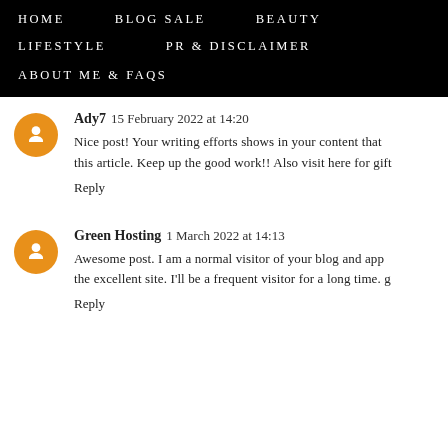HOME   BLOG SALE   BEAUTY   LIFESTYLE   PR & DISCLAIMER   ABOUT ME & FAQs
Ady7  15 February 2022 at 14:20
Nice post! Your writing efforts shows in your content that this article. Keep up the good work!! Also visit here for gift
Reply
Green Hosting  1 March 2022 at 14:13
Awesome post. I am a normal visitor of your blog and app the excellent site. I'll be a frequent visitor for a long time. g
Reply